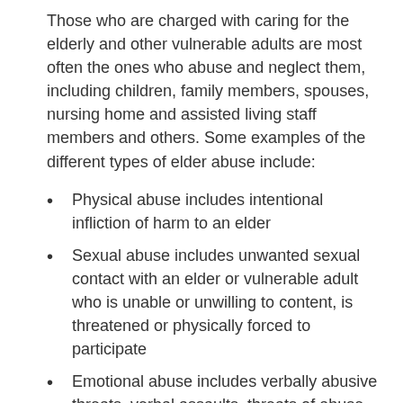Those who are charged with caring for the elderly and other vulnerable adults are most often the ones who abuse and neglect them, including children, family members, spouses, nursing home and assisted living staff members and others. Some examples of the different types of elder abuse include:
Physical abuse includes intentional infliction of harm to an elder
Sexual abuse includes unwanted sexual contact with an elder or vulnerable adult who is unable or unwilling to content, is threatened or physically forced to participate
Emotional abuse includes verbally abusive threats, verbal assaults, threats of abuse, harassment or intimidation